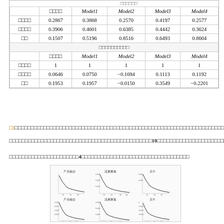|  | □□□□ | Model1 | Model2 | Model3 | Model4 |
| --- | --- | --- | --- | --- | --- |
| □□□□ | 0.2867 | 0.3868 | 0.2570 | 0.4197 | 0.2577 |
| □□□□ | 0.3906 | 0.4601 | 0.6385 | 0.4442 | 0.3624 |
| □□ | 0.1507 | 0.5196 | 0.8516 | 0.6493 | 0.8604 |
| [□□□□□□□□□□] |  |  |  |  |  |
|  | □□□□ | Model1 | Model2 | Model3 | Model4 |
| □□□□ | 1 | 1 | 1 | 1 | 1 |
| □□□□ | 0.0646 | 0.0750 | −0.1694 | 0.1113 | 0.1192 |
| □□ | 0.1953 | 0.1957 | −0.0150 | 0.3549 | −0.2201 |
□3□□□□□□□□□□□□□□□□□□□□□□□□□□□□□□□□□□□□□□□□□□□□□□□□□□□□□□□□□□□□□□□□□□□□□□□□......
□□□□□□□□□□□□□□□□□□□□□□□□□□□□□□□□□□□□□□□□□□□□□10□□□□□□□□□□□□□□□□□□□□□□□□□□□□□□□□□□□□□□
□□□□□□□□□□□□□□□□□□□□□□□4□□□□□□□□□□□□□□□□□□□□□□□□□□□□□□□□□□□
[Figure (continuous-plot): Six small line/curve plots arranged in 2 rows by 3 columns, showing decay curves with Japanese axis labels. Top row: 产业融合, 流量聚集, 关牛. Bottom row: 产业融合II, 流量聚集II, 关牛II. All plots show rapidly decreasing curves approaching zero.]